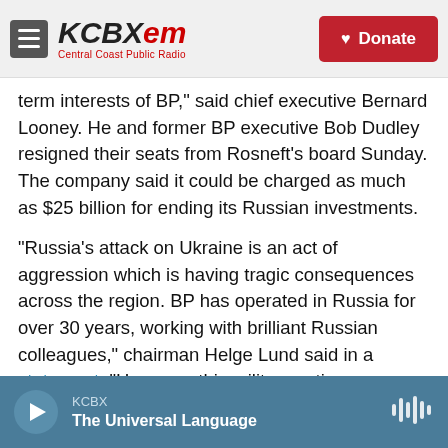KCBX FM Central Coast Public Radio | Donate
term interests of BP, said chief executive Bernard Looney. He and former BP executive Bob Dudley resigned their seats from Rosneft's board Sunday. The company said it could be charged as much as $25 billion for ending its Russian investments.
"Russia's attack on Ukraine is an act of aggression which is having tragic consequences across the region. BP has operated in Russia for over 30 years, working with brilliant Russian colleagues," chairman Helge Lund said in a statement. "However, this military action represents a fundamental change. It has led the BP board to conclude, after a thorough
KCBX | The Universal Language